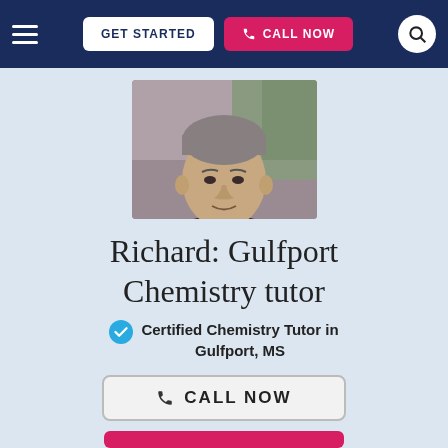GET STARTED | CALL NOW
[Figure (photo): Portrait photo of Richard, a middle-aged man wearing a dark blazer and tie, smiling, with light background]
Richard: Gulfport Chemistry tutor
Certified Chemistry Tutor in Gulfport, MS
CALL NOW